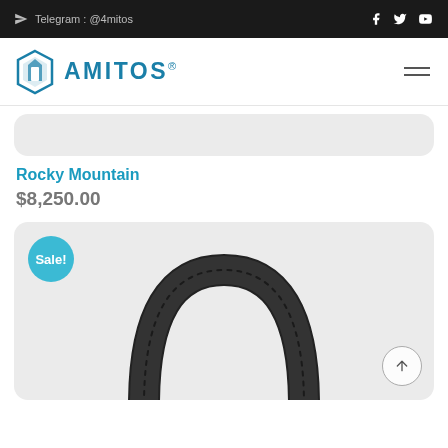Telegram : @4mitos
[Figure (logo): Amitos logo with blue geometric diamond-shield icon and text AMITOS with registered trademark symbol]
[Figure (photo): Partial grey rounded product card (top portion visible)]
Rocky Mountain
$8,250.00
[Figure (photo): Product card with Sale! badge in teal circle and a black textured belt/strap arching upward in the center of a light grey rounded card]